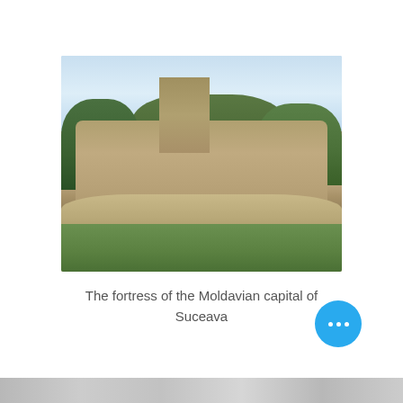[Figure (photo): Photograph of the fortress of the Moldavian capital of Suceava. Stone medieval fortress walls with rounded bastions, a tower with a pointed roof in the center background, surrounded by green trees under a light blue sky. Green grass visible in the foreground.]
The fortress of the Moldavian capital of Suceava